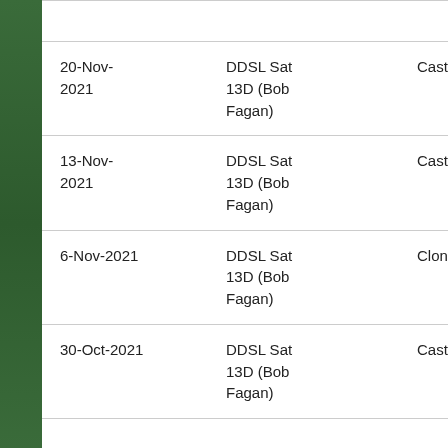| Date | League | Team |
| --- | --- | --- |
| 20-Nov-2021 | DDSL Sat 13D (Bob Fagan) | Castleknock Celtic |
| 13-Nov-2021 | DDSL Sat 13D (Bob Fagan) | Castleknock Celtic |
| 6-Nov-2021 | DDSL Sat 13D (Bob Fagan) | Clondalkin Celtic |
| 30-Oct-2021 | DDSL Sat 13D (Bob Fagan) | Castleknock Celtic |